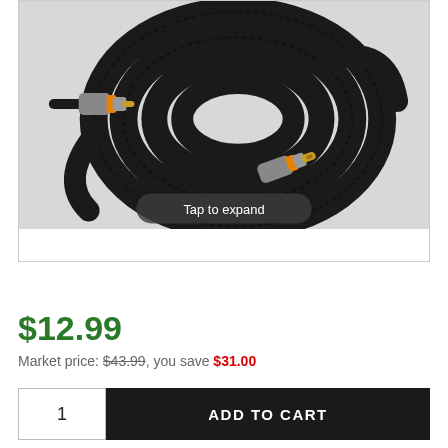[Figure (photo): Coiled black braided RCA audio/video cable with orange and silver connectors on both ends, displayed on a light gray background. A 'Tap to expand' tooltip overlay is shown at the bottom center of the image.]
$12.99
Market price: $43.99, you save $31.00